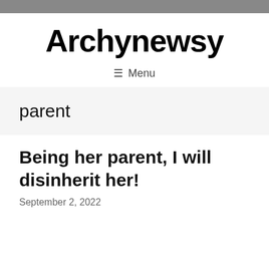Archynewsy
≡ Menu
parent
Being her parent, I will disinherit her!
September 2, 2022